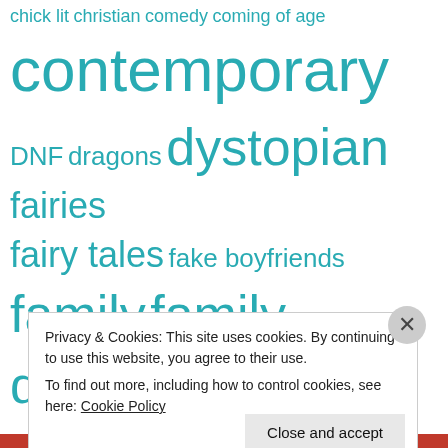chick lit christian comedy coming of age contemporary DNF dragons dystopian fairies fairy tales fake boyfriends family family dysfunction fantasy feminist folklore food friendship futuristic heist historical holiday horror immigration intrigue legal thriller LGBT life drama love inspired suspense magic mature memoir mental health mystery mythology nonfiction parallel
Privacy & Cookies: This site uses cookies. By continuing to use this website, you agree to their use. To find out more, including how to control cookies, see here: Cookie Policy
Close and accept